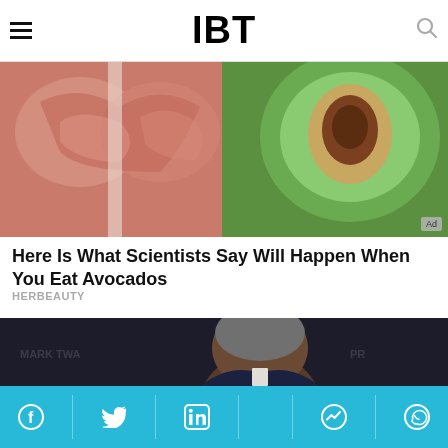IBT
[Figure (photo): Advertisement image showing muscle anatomy and avocado, with 'Ad' badge in bottom right corner]
Here Is What Scientists Say Will Happen When You Eat Avocados
HERBEAUTY
[Figure (photo): Portrait photo of an elderly man in a dark suit looking downward, wearing sunglasses, against a dark event backdrop]
Social sharing bar with Facebook, Twitter, LinkedIn, Messenger, WhatsApp icons